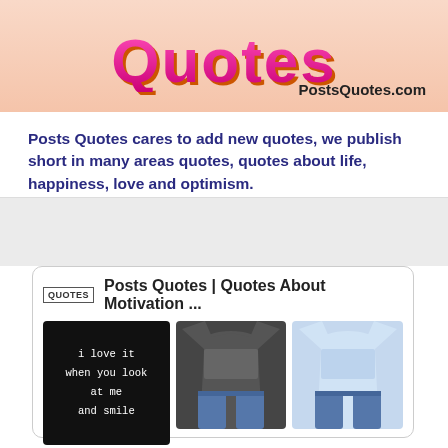[Figure (illustration): PostsQuotes.com website banner with stylized pink/magenta 'Quotes' text on peach gradient background, with URL PostsQuotes.com in bottom right]
Posts Quotes cares to add new quotes, we publish short in many areas quotes, quotes about life, happiness, love and optimism.
[Figure (screenshot): Card showing Posts Quotes | Quotes About Motivation ... with three images: a black background quote card saying 'I love it when you look at me and smile', a dark gray t-shirt with text, and a light blue t-shirt with text]